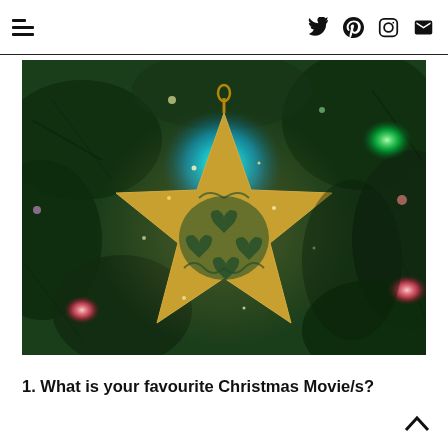Navigation and social icons header
[Figure (photo): Close-up photo of a glittery gold star-shaped Christmas tree ornament with intricate heart and floral cutout patterns, hanging on a green Christmas tree with colorful lights (blue, green, pink/red) in the background.]
1. What is your favourite Christmas Movie/s?